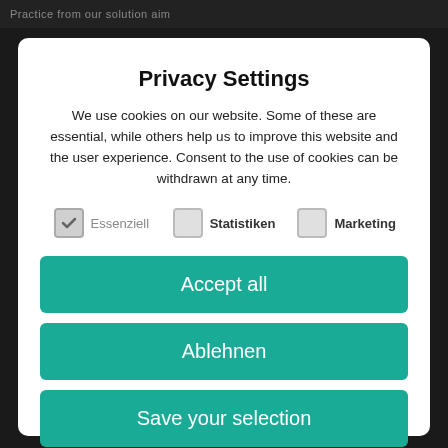Practice from our solution aim
Privacy Settings
We use cookies on our website. Some of these are essential, while others help us to improve this website and the user experience. Consent to the use of cookies can be withdrawn at any time.
Essenziell (checked), Statistiken (unchecked), Marketing (unchecked)
Accept all
Ablehnen
Save your selection
Settings   Privacy Policy   Imprint